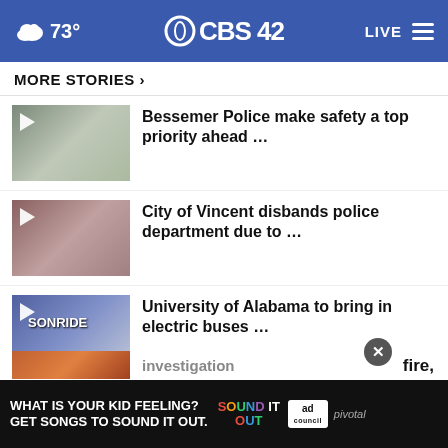73° CBS 42 LIVE
MORE STORIES ›
Bessemer Police make safety a top priority ahead …
City of Vincent disbands police department due to …
University of Alabama to bring in electric buses …
Judge blocks DeSantis's 'Stop WOKE Act'
Dothan woman writes a letter to a judge asking for …
… fire, investigation
[Figure (screenshot): Ad banner: WHAT IS YOUR KID FEELING? GET SONGS TO SOUND IT OUT. Sound It Out logo, ad council, pivotal logos.]